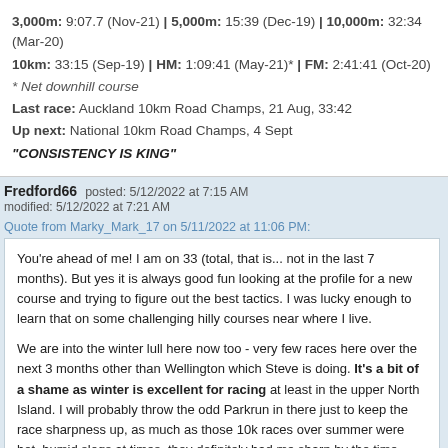3,000m: 9:07.7 (Nov-21) | 5,000m: 15:39 (Dec-19) | 10,000m: 32:34 (Mar-20)
10km: 33:15 (Sep-19) | HM: 1:09:41 (May-21)* | FM: 2:41:41 (Oct-20)
* Net downhill course
Last race: Auckland 10km Road Champs, 21 Aug, 33:42
Up next: National 10km Road Champs, 4 Sept
"CONSISTENCY IS KING"
Fredford66   posted: 5/12/2022 at 7:15 AM
modified: 5/12/2022 at 7:21 AM
Quote from Marky_Mark_17 on 5/11/2022 at 11:06 PM:
You're ahead of me!  I am on 33 (total, that is... not in the last 7 months).  But yes it is always good fun looking at the profile for a new course and trying to figure out the best tactics.  I was lucky enough to learn that on some challenging hilly courses near where I live.

We are into the winter lull here now too - very few races here over the next 3 months other than Wellington which Steve is doing.  It's a bit of a shame as winter is excellent for racing at least in the upper North Island.  I will probably throw the odd Parkrun in there just to keep the race sharpness up, as much as those 10k races over summer were hot, humid slogs at times, they definitely had me sharp by the time Omaha HM rolled around (and I needed to be too!).